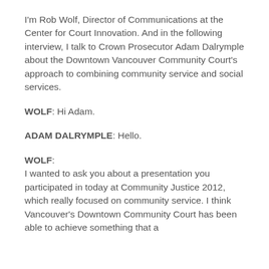I'm Rob Wolf, Director of Communications at the Center for Court Innovation. And in the following interview, I talk to Crown Prosecutor Adam Dalrymple about the Downtown Vancouver Community Court's approach to combining community service and social services.
WOLF: Hi Adam.
ADAM DALRYMPLE: Hello.
WOLF: I wanted to ask you about a presentation you participated in today at Community Justice 2012, which really focused on community service. I think Vancouver's Downtown Community Court has been able to achieve something that a